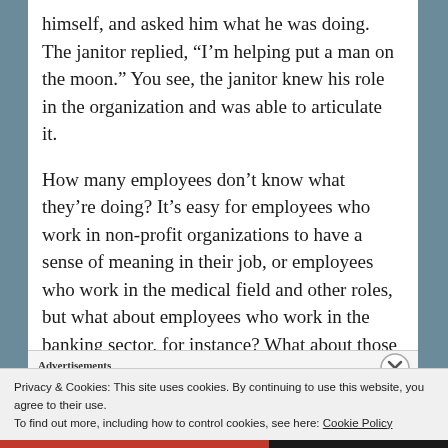himself, and asked him what he was doing.  The janitor replied, “I’m helping put a man on the moon.”  You see, the janitor knew his role in the organization and was able to articulate it.
How many employees don’t know what they’re doing?  It’s easy for employees who work in non-profit organizations to have a sense of meaning in their job, or employees who work in the medical field and other roles, but what about employees who work in the banking sector, for instance?  What about those working for insurance companies?  What’s their role?  Well. Mr. President,
Advertisements
Privacy & Cookies: This site uses cookies. By continuing to use this website, you agree to their use.
To find out more, including how to control cookies, see here: Cookie Policy
Close and accept